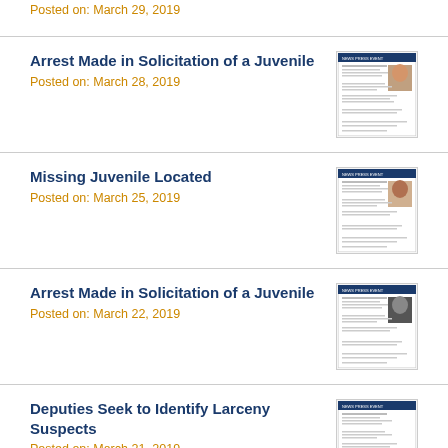Posted on: March 29, 2019
Arrest Made in Solicitation of a Juvenile
Posted on: March 28, 2019
Missing Juvenile Located
Posted on: March 25, 2019
Arrest Made in Solicitation of a Juvenile
Posted on: March 22, 2019
Deputies Seek to Identify Larceny Suspects
Posted on: March 21, 2019